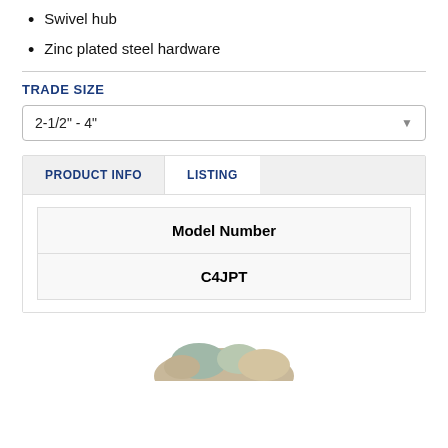Swivel hub
Zinc plated steel hardware
TRADE SIZE
2-1/2" - 4"
| Model Number |
| --- |
| C4JPT |
[Figure (photo): Partial photo of a product (pipe fitting/swivel hub connector) visible at bottom of page]